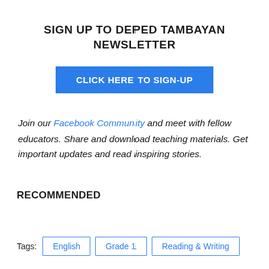SIGN UP TO DEPED TAMBAYAN NEWSLETTER
[Figure (other): Blue button with white bold text: CLICK HERE TO SIGN-UP]
Join our Facebook Community and meet with fellow educators. Share and download teaching materials. Get important updates and read inspiring stories.
RECOMMENDED
Tags: English  Grade 1  Reading & Writing